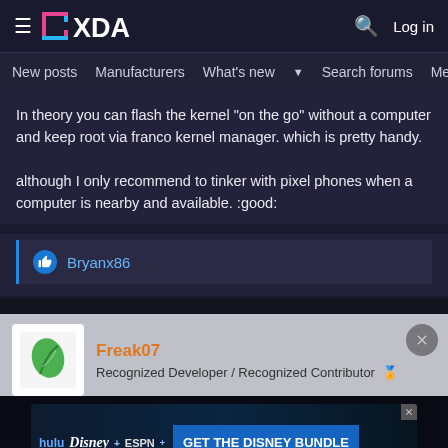XDA — New posts | Manufacturers | What's new | Search forums | Members
In theory you can flash the kernel "on the go" without a computer and keep root via franco kernel manager. which is pretty handy.

although I only recommend to tinker with pixel phones when a computer is nearby and available. :good:
Bryanx86
Freak07
Recognized Developer / Recognized Contributor
[Figure (screenshot): Disney Bundle advertisement banner: Hulu, Disney+, ESPN+ logos with 'GET THE DISNEY BUNDLE' call to action button. Fine print: Incl. Hulu (ad-supported) or Hulu (No Ads). Access content from each service separately. ©2021 Disney and its related entities.]